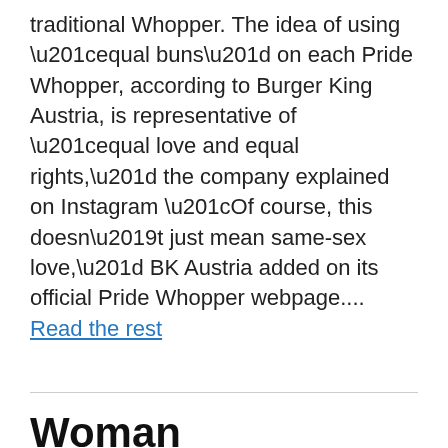traditional Whopper. The idea of using “equal buns” on each Pride Whopper, according to Burger King Austria, is representative of “equal love and equal rights,” the company explained on Instagram “Of course, this doesn’t just mean same-sex love,” BK Austria added on its official Pride Whopper webpage.... Read the rest
Read More →
Woman interrogated by police for saying males can’t be